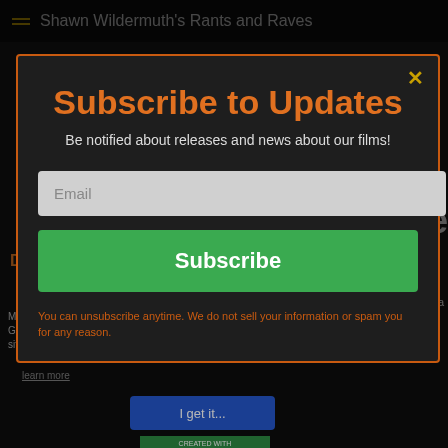Shawn Wildermuth's Rants and Raves
Subscribe to Updates
Be notified about releases and news about our films!
Email
Subscribe
You can unsubscribe anytime. We do not sell your information or spam you for any reason.